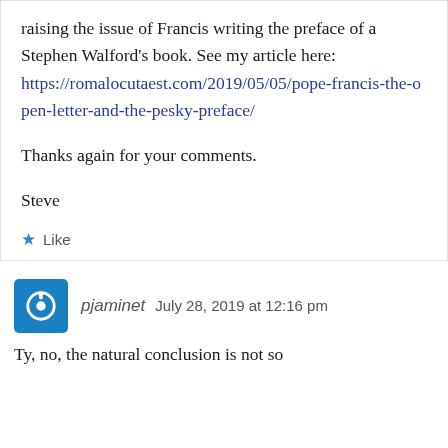raising the issue of Francis writing the preface of a Stephen Walford's book. See my article here: https://romalocutaest.com/2019/05/05/pope-francis-the-open-letter-and-the-pesky-preface/
Thanks again for your comments.
Steve
★ Like
pjaminet  July 28, 2019 at 12:16 pm
Ty, no, the natural conclusion is not so